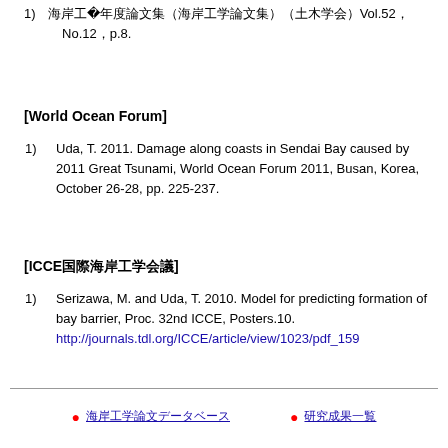1) 海岸工学2011年度論文集（海岸工学論文集）（土木学会）Vol.52 No.12，p.8.
[World Ocean Forum]
1) Uda, T. 2011. Damage along coasts in Sendai Bay caused by 2011 Great Tsunami, World Ocean Forum 2011, Busan, Korea, October 26-28, pp. 225-237.
[ICCE国際海岸工学会議]
1) Serizawa, M. and Uda, T. 2010. Model for predicting formation of bay barrier, Proc. 32nd ICCE, Posters.10. http://journals.tdl.org/ICCE/article/view/1023/pdf_159
● 海岸工学論文データベース　　● 研究成果一覧